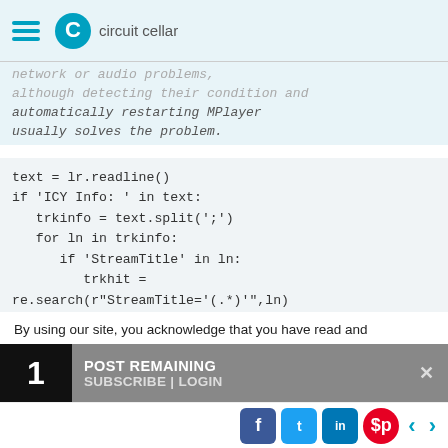circuit cellar
network or audio problems, although detecting their condition and automatically restarting MPlayer usually solves the problem.
text = lr.readline()
if 'ICY Info: ' in text:
    trkinfo = text.split(';')
    for ln in trkinfo:
        if 'StreamTitle' in ln:
            trkhit =
re.search(r"StreamTitle='(.*)'" ,ln)
            TrackName = trkhit.group(1)
            print 'Track name: ', TrackName
            break
    elif 'Exiting…' in text:
By using our site, you acknowledge that you have read and
Privacy Policy.
1  POST REMAINING  SUBSCRIBE | LOGIN